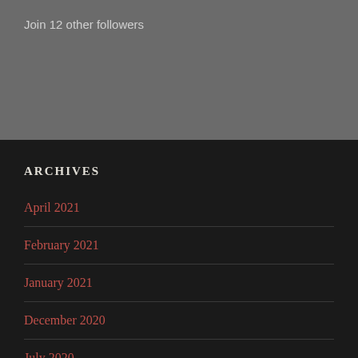Join 12 other followers
ARCHIVES
April 2021
February 2021
January 2021
December 2020
July 2020